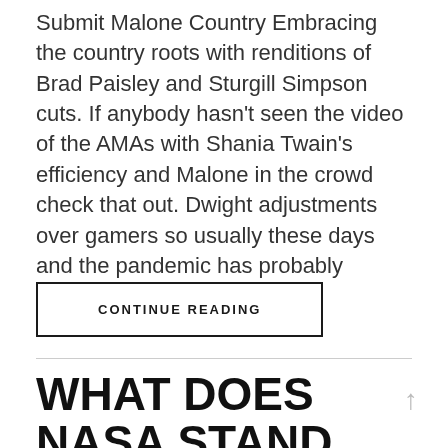Submit Malone Country Embracing the country roots with renditions of Brad Paisley and Sturgill Simpson cuts. If anybody hasn't seen the video of the AMAs with Shania Twain's efficiency and Malone in the crowd check that out. Dwight adjustments over gamers so usually these days and the pandemic has probably
CONTINUE READING
WHAT DOES NASA STAND FOR?